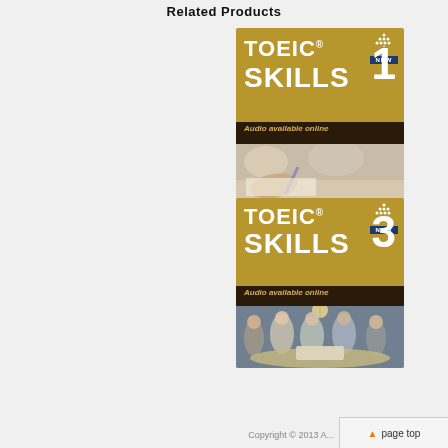Related Products
[Figure (photo): Book cover: TOEIC Skills 1 — gold and dark cover with student writing photo. Text: TOEIC SKILLS 1, Audio available online. Publisher logo: abax NEW.]
[Figure (photo): Book cover: TOEIC Skills 3 — gold and dark cover with group of students around a table photo. Text: TOEIC SKILLS 3, Audio available online. Publisher logo: abax NEW.]
Copyright © 2013 A... page top